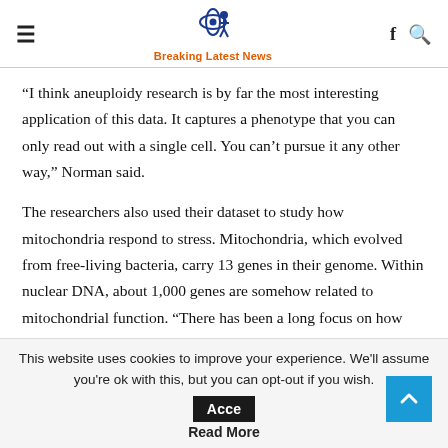Breaking Latest News
“I think aneuploidy research is by far the most interesting application of this data. It captures a phenotype that you can only read out with a single cell. You can’t pursue it any other way,” Norman said.
The researchers also used their dataset to study how mitochondria respond to stress. Mitochondria, which evolved from free-living bacteria, carry 13 genes in their genome. Within nuclear DNA, about 1,000 genes are somehow related to mitochondrial function. “There has been a long focus on how nuclear and mitochondrial DNA are coordinated and regulated
This website uses cookies to improve your experience. We’ll assume you’re ok with this, but you can opt-out if you wish. Acce… Read More